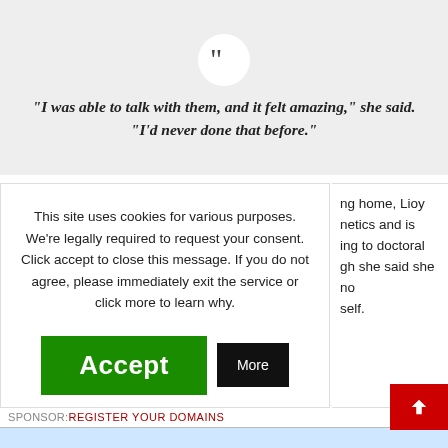“I was able to talk with them, and it felt amazing,” she said. “I’d never done that before.”
This site uses cookies for various purposes. We’re legally required to request your consent. Click accept to close this message. If you do not agree, please immediately exit the service or click more to learn why.
ng home, Lioy netics and is ing to doctoral gh she said she no self.
SPONSOR: REGISTER YOUR DOMAINS